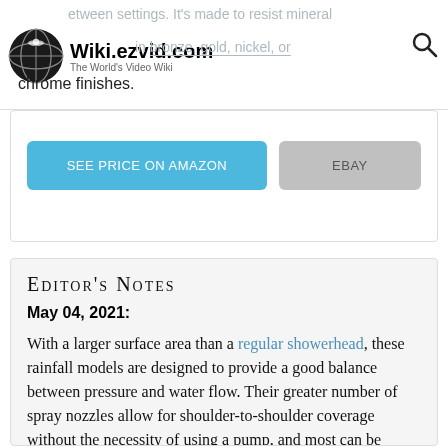Wiki.ezvid.com – The World's Video Wiki
between settings. It's made to resist mineral buildup available in bronze, gold, nickel, or chrome finishes.
SEE PRICE ON AMAZON | EBAY
Editor's Notes
May 04, 2021:
With a larger surface area than a regular showerhead, these rainfall models are designed to provide a good balance between pressure and water flow. Their greater number of spray nozzles allow for shoulder-to-shoulder coverage without the necessity of using a pump, and most can be installed as a direct replacement without any costly